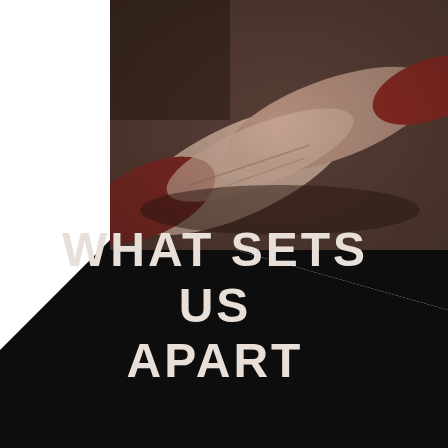[Figure (photo): Close-up photo of a person's forearms and hands, wearing a dark red/maroon short-sleeve shirt, arms crossed or resting together. The image has a sepia/desaturated tone with warm brownish-red accents.]
WHAT SETS US APART